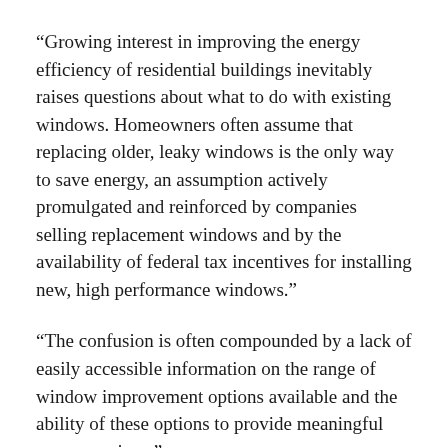“Growing interest in improving the energy efficiency of residential buildings inevitably raises questions about what to do with existing windows. Homeowners often assume that replacing older, leaky windows is the only way to save energy, an assumption actively promulgated and reinforced by companies selling replacement windows and by the availability of federal tax incentives for installing new, high performance windows.”
“The confusion is often compounded by a lack of easily accessible information on the range of window improvement options available and the ability of these options to provide meaningful energy savings.”
“This study examines multiple window improvement options, comparing the relative energy, carbon, and cost savings of various choices across multiple climate regions. Results of this